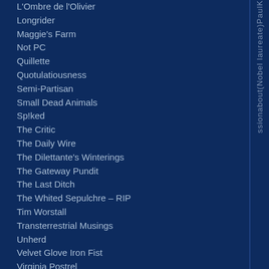L'Ombre de l'Olivier
Longrider
Maggie's Farm
Not PC
Quillette
Quotulatiousness
Semi-Partisan
Small Dead Animals
Sp!ked
The Critic
The Daily Wire
The Dilettante's Winterings
The Gateway Pundit
The Last Ditch
The Whited Sepulchre – RIP
Tim Worstall
Transterrestrial Musings
Unherd
Velvet Glove Iron Fist
Virginia Postrel
Economics
Adam Smith Institute
Café Hayek
Cato Institute
Coordination Problem
ssionabout(Nobel laureate)PaulK